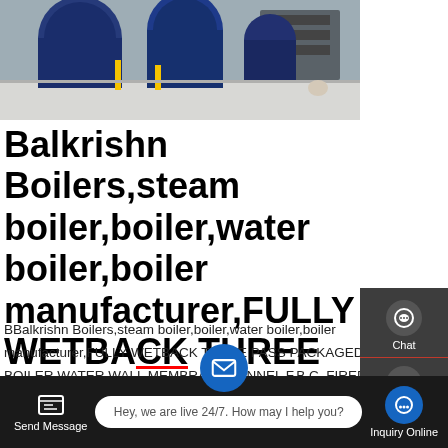[Figure (photo): Industrial boilers/steam boilers in a factory setting, multiple large blue cylindrical boilers with pipes and yellow fittings on a white floor]
Balkrishn Boilers,steam boiler,boiler,water boiler,boiler manufacturer,FULLY WETBACK THREE PASS PACKAGED BOILER...
BBalkrishn Boilers,steam boiler,boiler,water boiler,boiler manufacturer,FULLY WETBACK THREE PASS PACKAGED BOILER,WATER WALL MEMBRANE PANNEL F.B.C. FIRED BOILER,OIL AND GAS FIRED FULLY WET BACK
[Figure (infographic): Right sidebar with Chat, Email, TOP, and Contact buttons on dark background]
[Figure (infographic): Bottom navigation bar with Send Message, live chat bubble, email FAB, and Inquiry Online buttons]